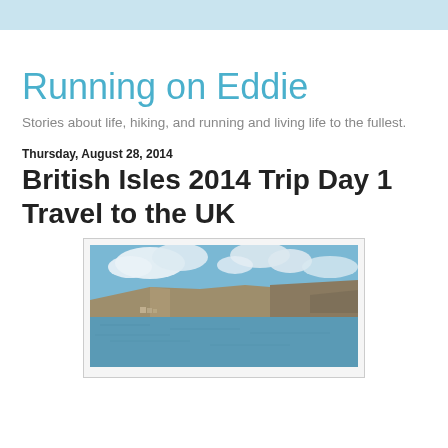Running on Eddie
Stories about life, hiking, and running and living life to the fullest.
Thursday, August 28, 2014
British Isles 2014 Trip Day 1 Travel to the UK
[Figure (photo): Coastal cliff scene with blue sky, white clouds, rocky cliffs, and calm sea water in the foreground. A small harbor or settlement is visible at the base of the cliffs.]